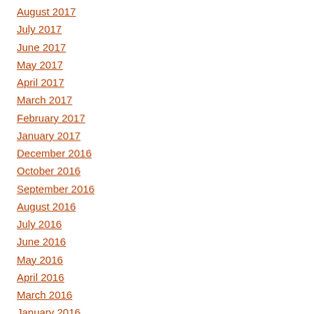August 2017
July 2017
June 2017
May 2017
April 2017
March 2017
February 2017
January 2017
December 2016
October 2016
September 2016
August 2016
July 2016
June 2016
May 2016
April 2016
March 2016
January 2016
December 2015